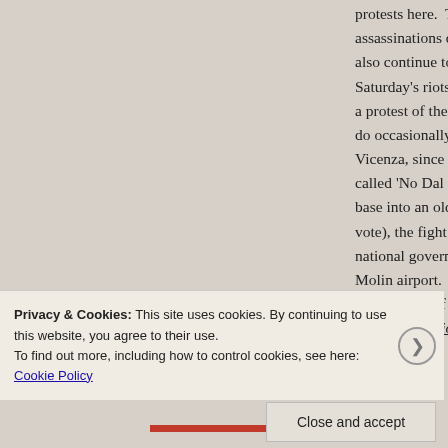protests here.  The leftist 'Red Brigades' orchestrated assassinations during 60's, 70's, and into the 80's also continue to perform acts of violence–the 'Bla Saturday's riots is an example.  In 2002, there was a protest of the G8 summit.  Strikes and protests do occasionally end in some type of violence or c Vicenza, since 2006 there has been an ongoing a called 'No Dal Molin', which is fighting against the base into an old local airport.  Despite huge supp vote), the fight has basically been lost, as the bas national government, and construction has been Molin airport.  This movement has sponsored sco occupations of local building and landmarks, but own train station was occupied and ransacked by
Privacy & Cookies: This site uses cookies. By continuing to use this website, you agree to their use.
To find out more, including how to control cookies, see here: Cookie Policy
Close and accept